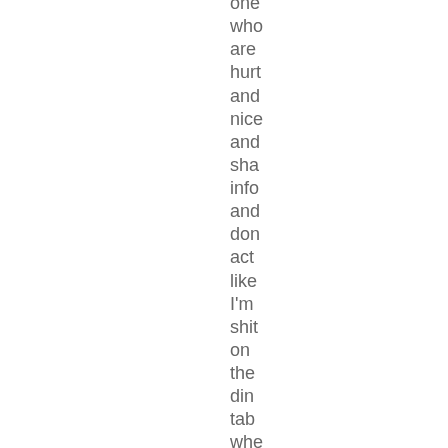one who are hurt and nice and share info and don't act like I'm shit on the dining table when I write down eve